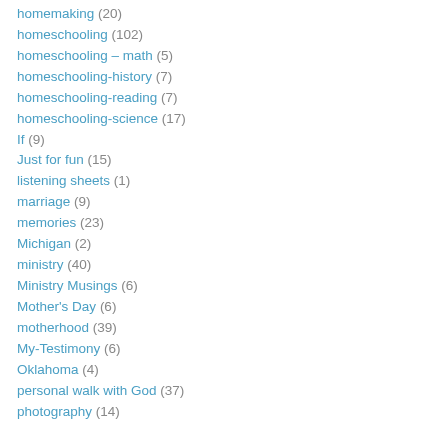homemaking (20)
homeschooling (102)
homeschooling – math (5)
homeschooling-history (7)
homeschooling-reading (7)
homeschooling-science (17)
If (9)
Just for fun (15)
listening sheets (1)
marriage (9)
memories (23)
Michigan (2)
ministry (40)
Ministry Musings (6)
Mother's Day (6)
motherhood (39)
My-Testimony (6)
Oklahoma (4)
personal walk with God (37)
photography (14)